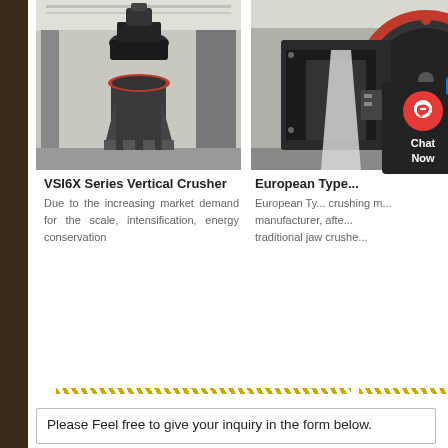[Figure (photo): VSI6X Series Vertical Crusher machine in an industrial warehouse setting, dark grey metallic body with red accent ring]
VSI6X Series Vertical Crusher
Due to the increasing market demand for the scale, intensification, energy conservation
[Figure (photo): European Type jaw crusher machine, partially obscured by chat popup overlay, dark metallic body with red circular wheel]
European Type...
European Ty... crushing m... manufacturer, afte... traditional jaw crushe...
Please Feel free to give your inquiry in the form below.